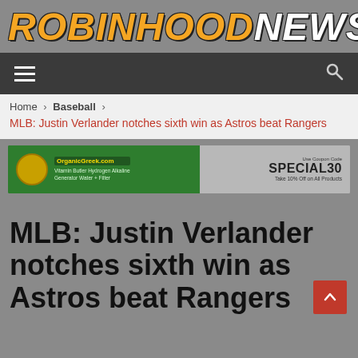[Figure (logo): RobinhoodNews logo in large italic bold text with orange and white letters on gray background]
[Figure (screenshot): Dark navigation bar with hamburger menu icon on left and search icon on right]
Home > Baseball >
MLB: Justin Verlander notches sixth win as Astros beat Rangers
[Figure (infographic): OrganicGreek.com advertisement banner - green left half showing logo and text about Vitamin Butler Hydrogen Alkaline Generator Water + Filter, gray right half showing SPECIAL30 coupon for 10% off all products]
MLB: Justin Verlander notches sixth win as Astros beat Rangers